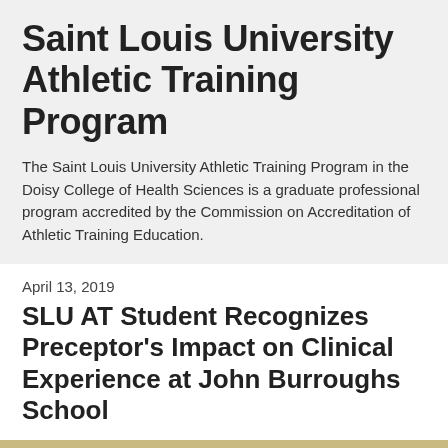Saint Louis University Athletic Training Program
The Saint Louis University Athletic Training Program in the Doisy College of Health Sciences is a graduate professional program accredited by the Commission on Accreditation of Athletic Training Education.
April 13, 2019
SLU AT Student Recognizes Preceptor's Impact on Clinical Experience at John Burroughs School
[Figure (photo): Photo of two people in front of a wall with 'BOMBER' text, associated with John Burroughs School]